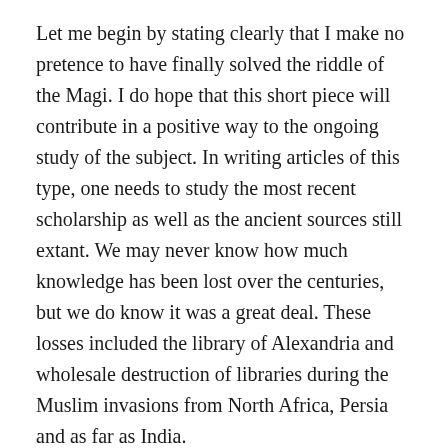Let me begin by stating clearly that I make no pretence to have finally solved the riddle of the Magi. I do hope that this short piece will contribute in a positive way to the ongoing study of the subject. In writing articles of this type, one needs to study the most recent scholarship as well as the ancient sources still extant. We may never know how much knowledge has been lost over the centuries, but we do know it was a great deal. These losses included the library of Alexandria and wholesale destruction of libraries during the Muslim invasions from North Africa, Persia and as far as India.
This continues from the two previous articles on the identity and nature of the Magi in particular relation to the Christmas story which combines Jewish and Persian elements. But first, it must be remembered that it is a story and it cannot be assumed that the narrator himself thought it to be an